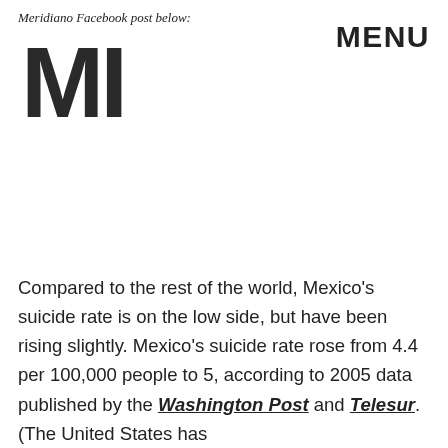Meridiano Facebook post below:
[Figure (logo): MIC logo — large bold block letters M, I, C stacked]
Compared to the rest of the world, Mexico's suicide rate is on the low side, but have been rising slightly. Mexico's suicide rate rose from 4.4 per 100,000 people to 5, according to 2005 data published by the Washington Post and Telesur. (The United States has